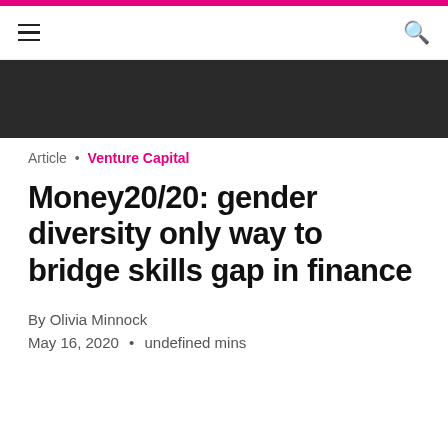≡  🔍
Article • Venture Capital
Money20/20: gender diversity only way to bridge skills gap in finance
By Olivia Minnock
May 16, 2020  •  undefined mins